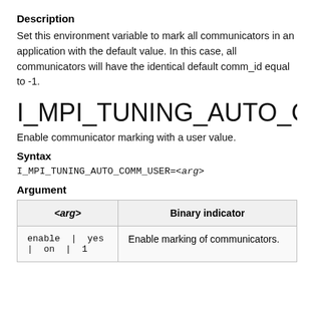Description
Set this environment variable to mark all communicators in an application with the default value. In this case, all communicators will have the identical default comm_id equal to -1.
I_MPI_TUNING_AUTO_COMM_U
Enable communicator marking with a user value.
Syntax
Argument
| <arg> | Binary indicator |
| --- | --- |
| enable | yes | on | 1 | Enable marking of communicators. |